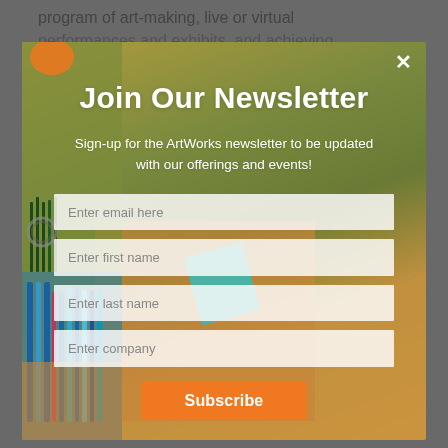program of art-making, live or virtual performances and exhibits, and achieving
[Figure (screenshot): Newsletter signup modal popup over a webpage background. The modal shows a form with fields for email, first name, last name, and company, along with a Subscribe button. The background shows art supplies (colored pencils/pens) and a brownish-green surface.]
Join Our Newsletter
Sign-up for the ArtWorks newsletter to be updated with our offerings and events!
Enter email here
Enter first name
Enter last name
Enter company